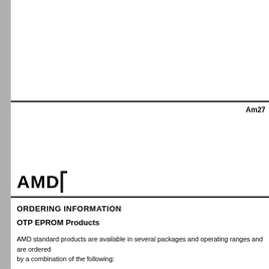Am27
[Figure (logo): AMD logo with arrow symbol]
ORDERING INFORMATION
OTP EPROM Products
AMD standard products are available in several packages and operating ranges and are ordered by a combination of the following: